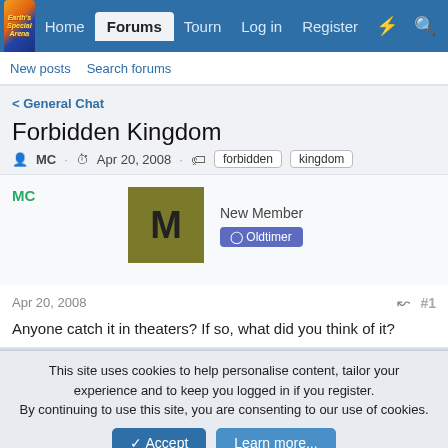Home | Forums | Tourn | Log in | Register
New posts | Search forums
< General Chat
Forbidden Kingdom
MC · Apr 20, 2008 · forbidden kingdom
MC  New Member  Oldtimer
Apr 20, 2008  #1
Anyone catch it in theaters? If so, what did you think of it?
This site uses cookies to help personalise content, tailor your experience and to keep you logged in if you register.
By continuing to use this site, you are consenting to our use of cookies.